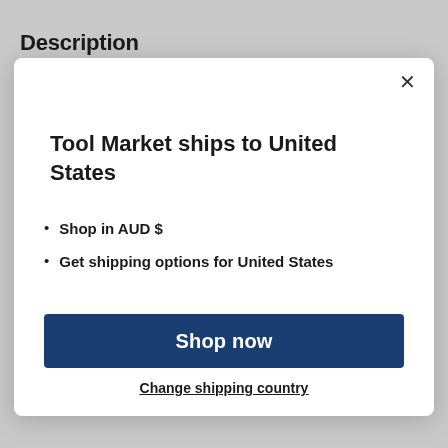Description
Tool Market ships to United States
Shop in AUD $
Get shipping options for United States
Shop now
Change shipping country